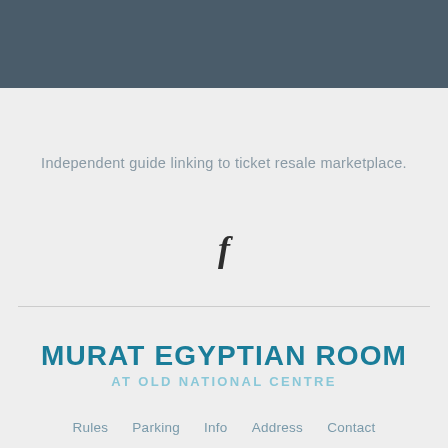[Figure (other): Dark steel-blue header bar background]
Independent guide linking to ticket resale marketplace.
[Figure (other): Facebook 'f' icon]
MURAT EGYPTIAN ROOM
AT OLD NATIONAL CENTRE
Rules   Parking   Info   Address   Contact